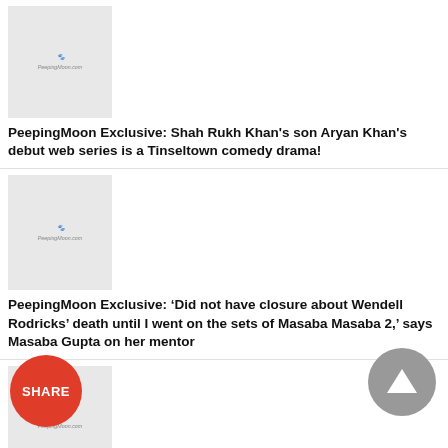[Figure (screenshot): PeepingMoon logo on grey thumbnail placeholder (top article, partially visible)]
PeepingMoon Exclusive: Shah Rukh Khan's son Aryan Khan's debut web series is a Tinseltown comedy drama!
[Figure (screenshot): PeepingMoon logo on grey thumbnail placeholder (second article)]
PeepingMoon Exclusive: 'Did not have closure about Wendell Rodricks' death until I went on the sets of Masaba Masaba 2,' says Masaba Gupta on her mentor
[Figure (screenshot): PeepingMoon logo on grey thumbnail placeholder (third article)]
Jug Jugg Jeevo success bash: Kiara joins Varun, Anil Kapoor,